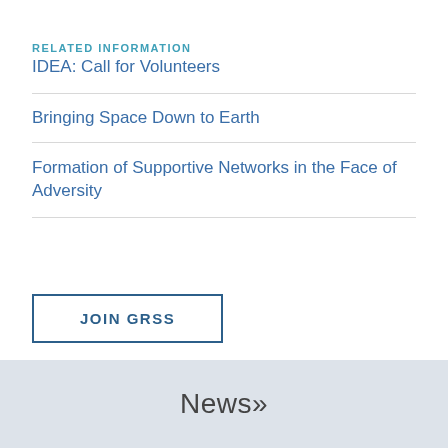RELATED INFORMATION
IDEA: Call for Volunteers
Bringing Space Down to Earth
Formation of Supportive Networks in the Face of Adversity
JOIN GRSS
News»